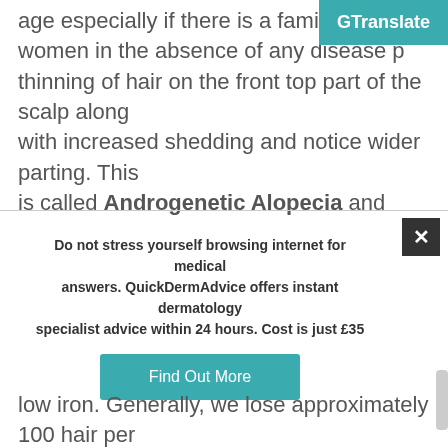age especially if there is a family histo... women in the absence of any disease... thinning of hair on the front top part of the scalp along with increased shedding and notice wider parting. This is called Androgenetic Alopecia and affects 70% of men and 30% of female. This is not a disease and is
[Figure (screenshot): GTranslate button in teal/blue-green color in top right corner]
[Figure (screenshot): Close (X) button in dark grey square, top right of popup]
Do not stress yourself browsing internet for medical answers. QuickDermAdvice offers instant dermatology specialist advice within 24 hours. Cost is just £35
[Figure (screenshot): Teal 'Find Out More' button]
low iron. Generally, we lose approximately 100 hair per day which is normal but in this condition, we lose more hair due to the underlying triggers.
Traction Alopecia is a condition which affects afro